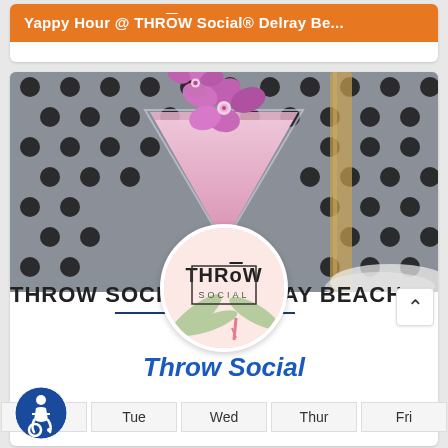Yappy Hour @ THRōW Social® Delray Be...
[Figure (photo): Pink cocktail martini glass garnished with a purple orchid flower, set against a black-and-white polka dot background, with a THRōW Social logo circle overlay]
THRŌW SOCIAL® DELRAY BEACH
Throw Social
| Mon | Tue | Wed | Thur | Fri |
| --- | --- | --- | --- | --- |